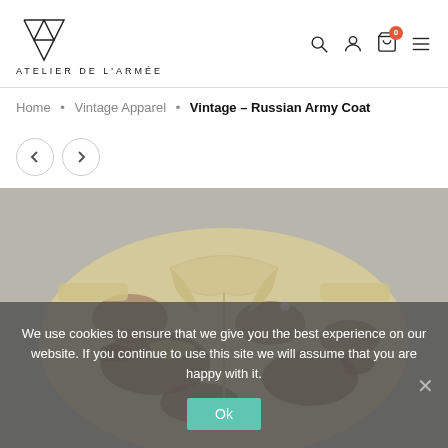ATELIER DE L'ARMÉE
Home • Vintage Apparel • Vintage – Russian Army Coat
[Figure (photo): Folded desert camouflage Russian army coat on a grey stone surface, showing collar and shoulder details]
We use cookies to ensure that we give you the best experience on our website. If you continue to use this site we will assume that you are happy with it.
Ok